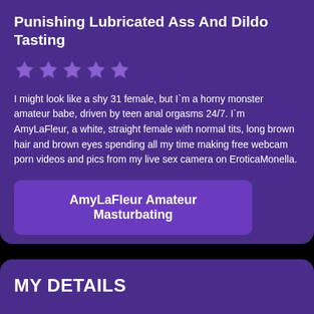Punishing Lubricated Ass And Dildo Tasting
[Figure (other): Five purple star rating icons]
I might look like a shy 31 female, but I`m a horny monster amateur babe, driven by teen anal orgasms 24/7. I`m AmyLaFleur, a white, straight female with normal tits, long brown hair and brown eyes spending all my time making free webcam porn videos and pics from my live sex camera on Erotica​Monella.
AmyLaFleur Amateur Masturbating
MY DETAILS